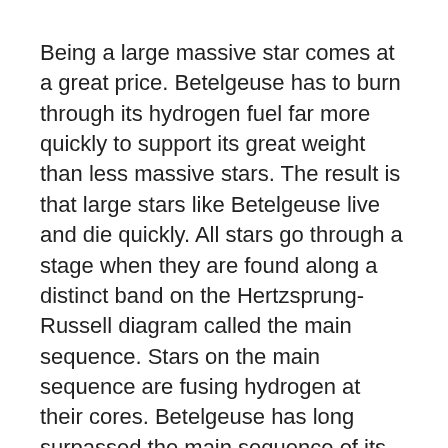Being a large massive star comes at a great price. Betelgeuse has to burn through its hydrogen fuel far more quickly to support its great weight than less massive stars. The result is that large stars like Betelgeuse live and die quickly. All stars go through a stage when they are found along a distinct band on the Hertzsprung-Russell diagram called the main sequence. Stars on the main sequence are fusing hydrogen at their cores. Betelgeuse has long surpassed the main sequence of its life. The star has rapidly evolved into a larger and cooler star called a red supergiant.
A main sequence star is in a state of equilibrium, where the thermal energy of